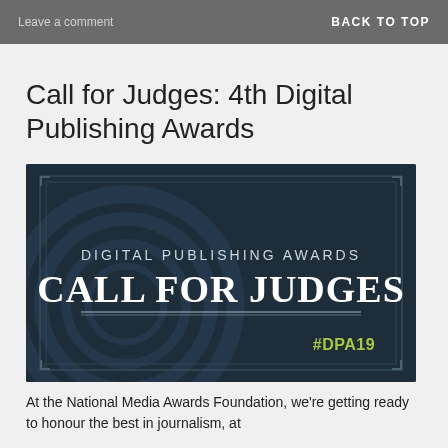Leave a comment    BACK TO TOP
Call for Judges: 4th Digital Publishing Awards
[Figure (illustration): Dark navy banner image for Digital Publishing Awards Call for Judges, with decorative circular motif and corner ornaments. Text reads 'DIGITAL PUBLISHING AWARDS' in small caps, 'CALL FOR JUDGES' in large bold serif, and '#DPA19' in green/yellow.]
At the National Media Awards Foundation, we're getting ready to honour the best in journalism, at